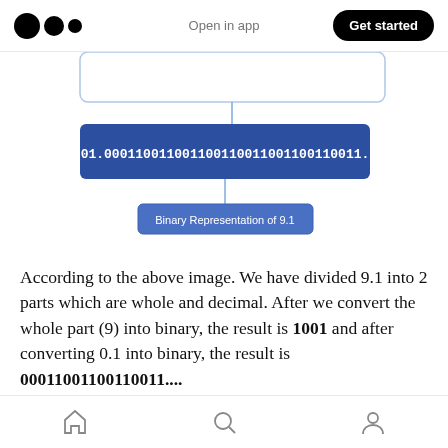Open in app   Get started
[Figure (flowchart): Flowchart showing binary representation of 9.1. A top box connects down to a dark blue box containing '1001.000110011001100110011001100110011...' which connects down to a smaller blue box labeled 'Binary Representation of 9.1']
According to the above image. We have divided 9.1 into 2 parts which are whole and decimal. After we convert the whole part (9) into binary, the result is 1001 and after converting 0.1 into binary, the result is 00011001100110011....
Finally, we have 1001.00011001100110011... as our
Home  Search  Profile